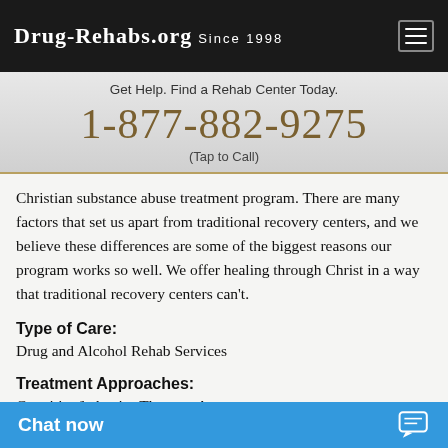Drug-Rehabs.org Since 1998
Get Help. Find a Rehab Center Today.
1-877-882-9275
(Tap to Call)
Christian substance abuse treatment program. There are many factors that set us apart from traditional recovery centers, and we believe these differences are some of the biggest reasons our program works so well. We offer healing through Christ in a way that traditional recovery centers can't.
Type of Care:
Drug and Alcohol Rehab Services
Treatment Approaches:
Cognitive/behavior Therapy, Anger management, Motivational interviewing, Substance abuse co...